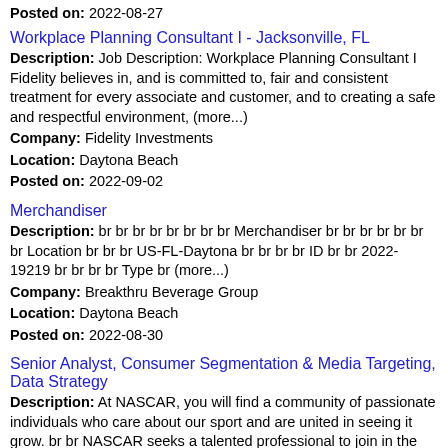Posted on: 2022-08-27
Workplace Planning Consultant I - Jacksonville, FL
Description: Job Description: Workplace Planning Consultant I Fidelity believes in, and is committed to, fair and consistent treatment for every associate and customer, and to creating a safe and respectful environment, (more...)
Company: Fidelity Investments
Location: Daytona Beach
Posted on: 2022-09-02
Merchandiser
Description: br br br br br br br br Merchandiser br br br br br br br Location br br br US-FL-Daytona br br br br ID br br 2022-19219 br br br br Type br (more...)
Company: Breakthru Beverage Group
Location: Daytona Beach
Posted on: 2022-08-30
Senior Analyst, Consumer Segmentation & Media Targeting, Data Strategy
Description: At NASCAR, you will find a community of passionate individuals who care about our sport and are united in seeing it grow. br br NASCAR seeks a talented professional to join in the position of Senior (more...)
Company: NASCAR
Location: Daytona Beach
Posted on: 2022-09-02